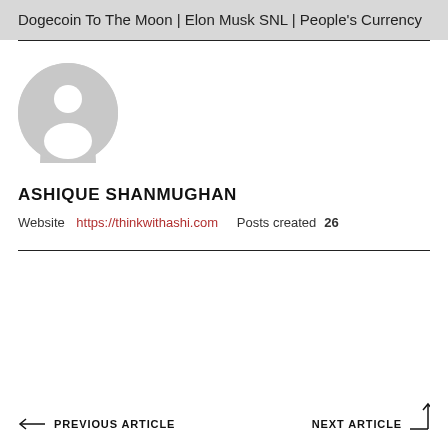Dogecoin To The Moon | Elon Musk SNL | People's Currency
[Figure (illustration): Default grey user avatar icon — circle silhouette with head and shoulders]
ASHIQUE SHANMUGHAN
Website https://thinkwithashi.com  Posts created 26
← PREVIOUS ARTICLE
NEXT ARTICLE →